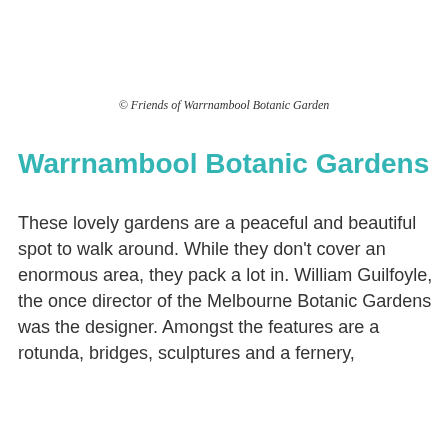© Friends of Warrnambool Botanic Garden
Warrnambool Botanic Gardens
These lovely gardens are a peaceful and beautiful spot to walk around. While they don't cover an enormous area, they pack a lot in. William Guilfoyle, the once director of the Melbourne Botanic Gardens was the designer. Amongst the features are a rotunda, bridges, sculptures and a fernery,